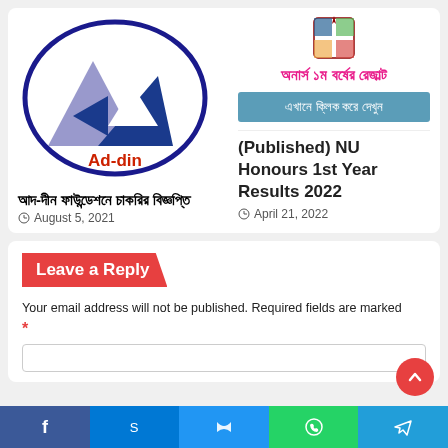[Figure (logo): Ad-din Foundation logo — blue ellipse with triangular shapes and text 'Ad-din' in red]
[Figure (logo): National University Bangladesh shield/crest logo]
অনার্স ১ম বর্ষের রেজাল্ট
এখানে ক্লিক করে দেখুন
আদ-দীন ফাউন্ডেশনে চাকরির বিজ্ঞপ্তি
August 5, 2021
(Published) NU Honours 1st Year Results 2022
April 21, 2022
Leave a Reply
Your email address will not be published. Required fields are marked *